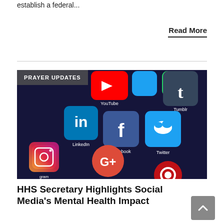establish a federal...
Read More
[Figure (photo): Smartphone screen showing social media app icons: LinkedIn, YouTube, Tumblr, Facebook, Twitter, Google+, Instagram, WhatsApp, and others, on a dark blue background. A 'PRAYER UPDATES' label overlays the top-left corner.]
HHS Secretary Highlights Social Media's Mental Health Impact